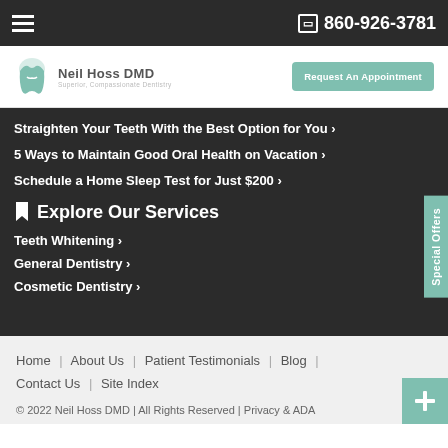☰  📱 860-926-3781
[Figure (logo): Neil Hoss DMD tooth logo with text 'Neil Hoss DMD' and subtitle]
Request An Appointment
Straighten Your Teeth With the Best Option for You ›
5 Ways to Maintain Good Oral Health on Vacation ›
Schedule a Home Sleep Test for Just $200 ›
🔖 Explore Our Services
Teeth Whitening ›
General Dentistry ›
Cosmetic Dentistry ›
Special Offers
Home | About Us | Patient Testimonials | Blog | Contact Us | Site Index
© 2022 Neil Hoss DMD | All Rights Reserved | Privacy & ADA